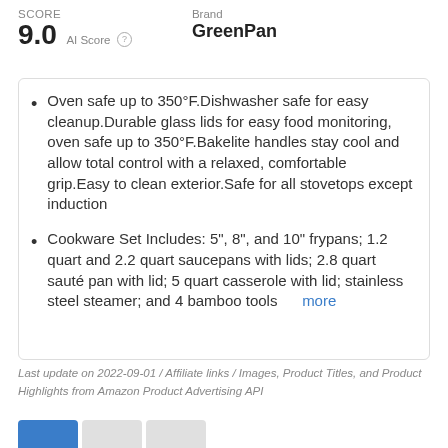SCORE
9.0 AI Score
Brand
GreenPan
Oven safe up to 350°F.Dishwasher safe for easy cleanup.Durable glass lids for easy food monitoring, oven safe up to 350°F.Bakelite handles stay cool and allow total control with a relaxed, comfortable grip.Easy to clean exterior.Safe for all stovetops except induction
Cookware Set Includes: 5", 8", and 10" frypans; 1.2 quart and 2.2 quart saucepans with lids; 2.8 quart sauté pan with lid; 5 quart casserole with lid; stainless steel steamer; and 4 bamboo tools  more
Last update on 2022-09-01 / Affiliate links / Images, Product Titles, and Product Highlights from Amazon Product Advertising API